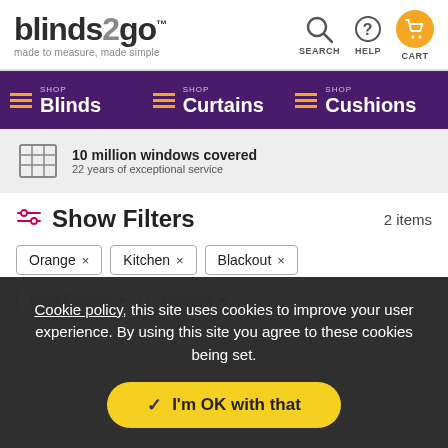blinds2go™ — made to measure, made simple | SEARCH | HELP | CART
SHOP Blinds   SHOP Curtains   SHOP Cushions
10 million windows covered — 22 years of exceptional service
Show Filters — 2 items
Orange ×
Kitchen ×
Blackout ×
Light Filtering ×
Clear All ×
Cookie policy, this site uses cookies to improve your user experience. By using this site you agree to these cookies being set.
✓ I'm OK with that